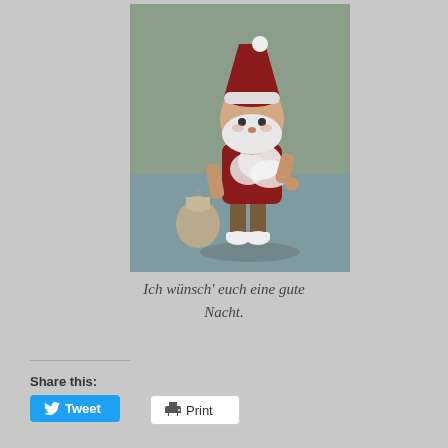[Figure (photo): A small Santa Claus figurine/doll wearing a red coat and hat, with white beard, holding a sack, standing on a blurred background.]
Ich wünsch' euch eine gute Nacht.
Share this:
Tweet
Print